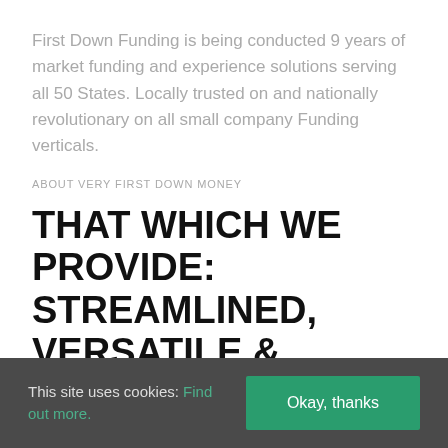First Down Funding is being conducted 9 years of market funding and experience solutions serving all 50 States. Locally trusted on and nationally revolutionary on all small company Funding verticals.
ABOUT VERY FIRST DOWN MONEY
THAT WHICH WE PROVIDE: STREAMLINED, VERSATILE & COMPASSIONATE BUSINESS FINANCING
This site uses cookies: Find out more.